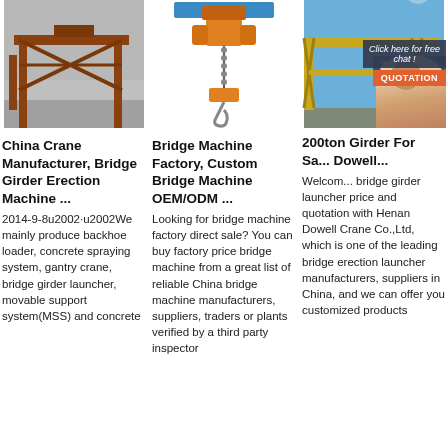[Figure (photo): Red/orange steel truss gantry crane structure against grey sky]
[Figure (photo): Yellow chain hoist / electric hoist machine with hook]
[Figure (photo): Yellow gantry crane against blue sky with 24/7 Online badge and customer service person overlay with chat popup and QUOTATION button]
China Crane Manufacturer, Bridge Girder Erection Machine ...
Bridge Machine Factory, Custom Bridge Machine OEM/ODM ...
200ton Girder For Sa... Dowell...
2014-9-8u2002·u2002We mainly produce backhoe loader, concrete spraying system, gantry crane, bridge girder launcher, movable support system(MSS) and concrete
Looking for bridge machine factory direct sale? You can buy factory price bridge machine from a great list of reliable China bridge machine manufacturers, suppliers, traders or plants verified by a third party inspector
Welcom... bridge g... launcher price and quotation with Henan Dowell Crane Co.,Ltd, which is one of the leading bridge erection launcher manufacturers, suppliers in China, and we can offer you customized products